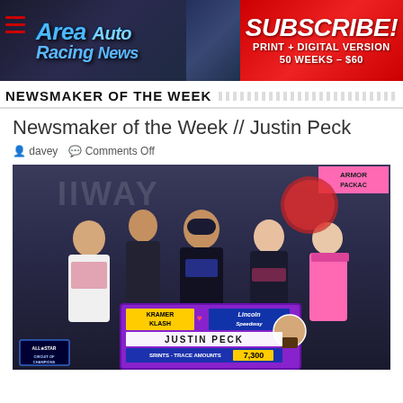[Figure (photo): Area Auto Racing News website banner with blue italic logo on dark background on left and red SUBSCRIBE! banner on right reading PRINT + DIGITAL VERSION 50 WEEKS - $60]
NEWSMAKER OF THE WEEK
Newsmaker of the Week // Justin Peck
davey   Comments Off
[Figure (photo): Victory lane photo of Justin Peck and crew at Lincoln Speedway holding a Kramer Klash winner sign. Sign reads JUSTIN PECK and shows prize money $7,300. All Star Circuit of Champions logo visible at bottom left. Pink Armory Package sign visible at top right.]